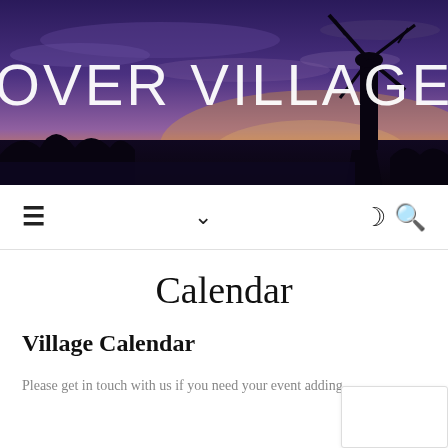[Figure (photo): Sunset/dusk landscape photo showing a windmill silhouette against a colorful purple, blue, and orange sky, with trees silhouetted in the foreground. Text 'OVER VILLAGE' overlaid in white.]
≡   ∨   ☽ 🔍
Calendar
Village Calendar
Please get in touch with us if you need your event adding,